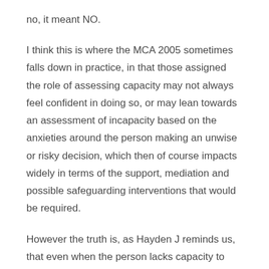no, it meant NO.
I think this is where the MCA 2005 sometimes falls down in practice, in that those assigned the role of assessing capacity may not always feel confident in doing so, or may lean towards an assessment of incapacity based on the anxieties around the person making an unwise or risky decision, which then of course impacts widely in terms of the support, mediation and possible safeguarding interventions that would be required.
However the truth is, as Hayden J reminds us, that even when the person lacks capacity to make the decision, the act of force feeding them may not be in their best interests (because best interests is subjective to the individual and not what the professional thinks is best), so the outcome may be one and the same. This is